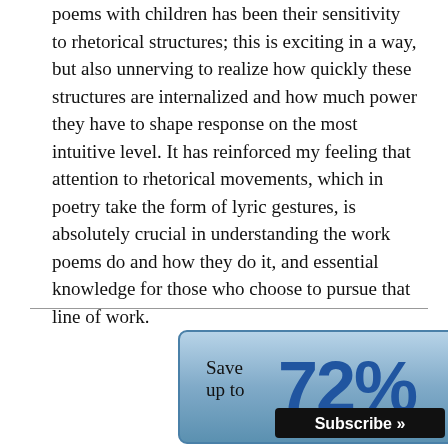poems with children has been their sensitivity to rhetorical structures; this is exciting in a way, but also unnerving to realize how quickly these structures are internalized and how much power they have to shape response on the most intuitive level. It has reinforced my feeling that attention to rhetorical movements, which in poetry take the form of lyric gestures, is absolutely crucial in understanding the work poems do and how they do it, and essential knowledge for those who choose to pursue that line of work.
[Figure (infographic): Advertisement banner: Save up to 72% Special Offer! Subscribe »]